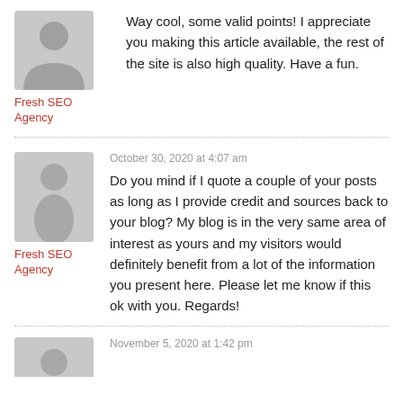[Figure (illustration): Gray placeholder avatar icon (person silhouette, upper body)]
Fresh SEO Agency
Way cool, some valid points! I appreciate you making this article available, the rest of the site is also high quality. Have a fun.
[Figure (illustration): Gray placeholder avatar icon (person silhouette, full body)]
Fresh SEO Agency
October 30, 2020 at 4:07 am
Do you mind if I quote a couple of your posts as long as I provide credit and sources back to your blog? My blog is in the very same area of interest as yours and my visitors would definitely benefit from a lot of the information you present here. Please let me know if this ok with you. Regards!
November 5, 2020 at 1:42 pm